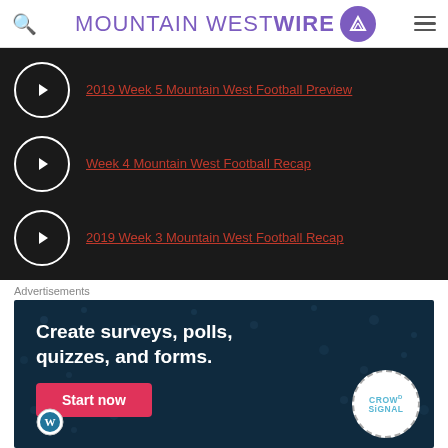MOUNTAIN WEST WIRE
2019 Week 5 Mountain West Football Preview
Week 4 Mountain West Football Recap
2019 Week 3 Mountain West Football Recap
Advertisements
[Figure (infographic): Crowdsignal advertisement: Create surveys, polls, quizzes, and forms. Start now button. Crowdsignal and WordPress logos.]